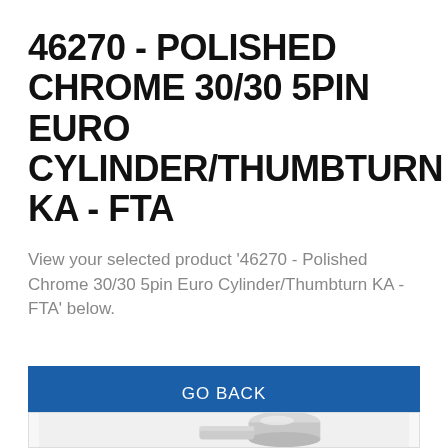46270 - POLISHED CHROME 30/30 5PIN EURO CYLINDER/THUMBTURN KA - FTA
View your selected product '46270 - Polished Chrome 30/30 5pin Euro Cylinder/Thumbturn KA - FTA' below.
GO BACK
[Figure (photo): Polished chrome euro cylinder/thumbturn hardware component, partially visible at bottom of page]